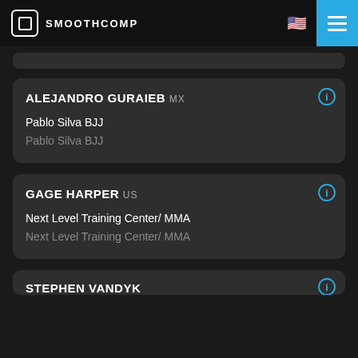SMOOTHCOMP
ALEJANDRO GURAIEB MX
Pablo Silva BJJ
Pablo Silva BJJ
GAGE HARPER US
Next Level Training Center/ MMA
Next Level Training Center/ MMA
STEPHEN VANDYK